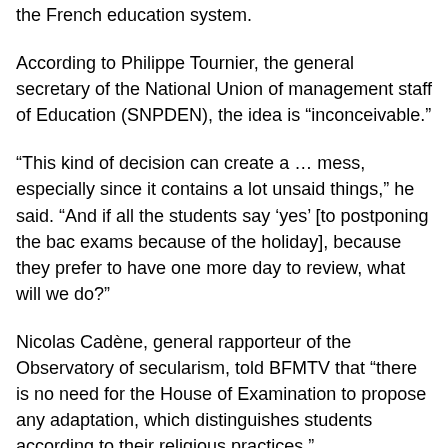the French education system.
According to Philippe Tournier, the general secretary of the National Union of management staff of Education (SNPDEN), the idea is “inconceivable.”
“This kind of decision can create a … mess, especially since it contains a lot unsaid things,” he said. “And if all the students say ‘yes’ [to postponing the bac exams because of the holiday], because they prefer to have one more day to review, what will we do?”
Nicolas Cadène, general rapporteur of the Observatory of secularism, told BFMTV that “there is no need for the House of Examination to propose any adaptation, which distinguishes students according to their religious practices.”
A member of the National Assembly of France, Eric Ciotti,